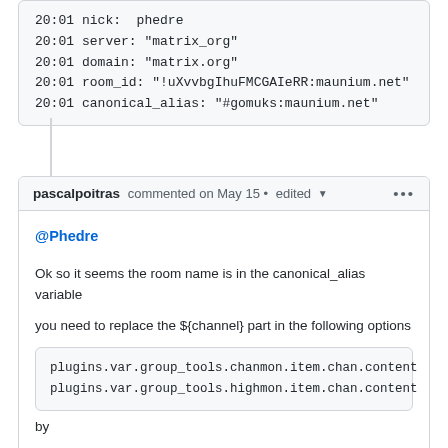20:01  nick:  phedre
20:01  server: "matrix_org"
20:01  domain: "matrix.org"
20:01  room_id: "!uXvvbgIhuFMCGAIeRR:maunium.net"
20:01  canonical_alias: "#gomuks:maunium.net"
pascalpoitras commented on May 15 • edited
@Phedre
Ok so it seems the room name is in the canonical_alias variable
you need to replace the ${channel} part in the following options
plugins.var.group_tools.chanmon.item.chan.content
plugins.var.group_tools.highmon.item.chan.content
by